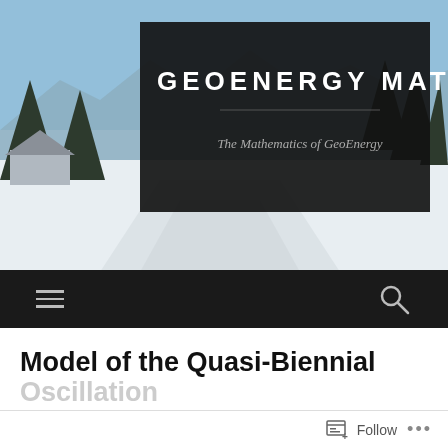[Figure (photo): Winter mountain landscape with snow-covered road and evergreen trees under blue sky, serving as website header background image]
GEOENERGY MATH
The Mathematics of GeoEnergy
Model of the Quasi-Biennial Oscillation
Follow